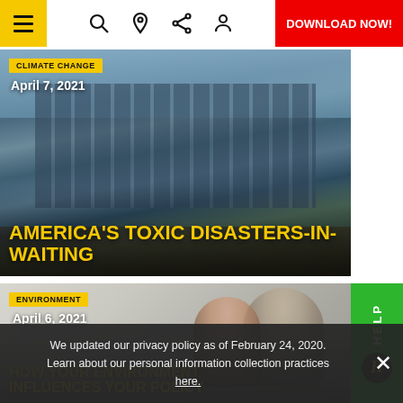Navigation bar with hamburger menu, search, location, share, profile icons, and DOWNLOAD NOW! button
[Figure (photo): Aerial photo of a coastal city with high-rise buildings near beach]
CLIMATE CHANGE
April 7, 2021
AMERICA'S TOXIC DISASTERS-IN-WAITING
[Figure (photo): Photo of a man and woman looking down together, smiling]
ENVIRONMENT
April 6, 2021
HOW YOUR ENVIRONMENT INFLUENCES YOUR POLICY
We updated our privacy policy as of February 24, 2020. Learn about our personal information collection practices here.